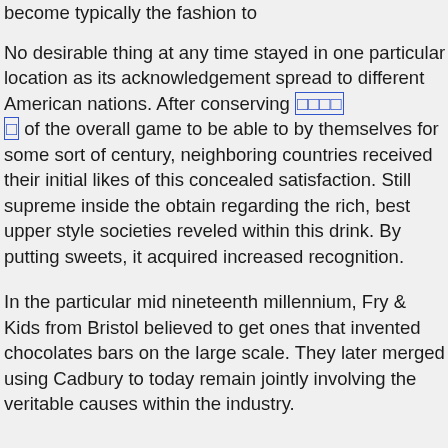become typically the fashion to
No desirable thing at any time stayed in one particular location as its acknowledgement spread to different American nations. After conserving [link] of the overall game to be able to by themselves for some sort of century, neighboring countries received their initial likes of this concealed satisfaction. Still supreme inside the obtain regarding the rich, best upper style societies reveled within this drink. By putting sweets, it acquired increased recognition.
In the particular mid nineteenth millennium, Fry & Kids from Bristol believed to get ones that invented chocolates bars on the large scale. They later merged using Cadbury to today remain jointly involving the veritable causes within the industry.